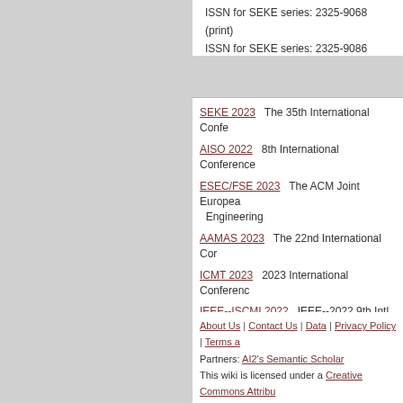ISSN for SEKE series: 2325-9068 (print)
ISSN for SEKE series: 2325-9086 (online)
SEKE 2023   The 35th International Confe...
AISO 2022   8th International Conference ...
ESEC/FSE 2023   The ACM Joint European... Engineering
AAMAS 2023   The 22nd International Cor...
ICMT 2023   2023 International Conferenc...
IEEE--ISCMI 2022   IEEE--2022 9th Intl. C...
SEAI 2023   2023 3rd IEEE International C...
MLDS 2022   3rd International Conference...
IEEE ICCSN 2023   IEEE--2023 15th Inter...
ACM ICHMI 2023   ACM--2023 3rd Interna...
About Us | Contact Us | Data | Privacy Policy | Terms a...
Partners: AI2's Semantic Scholar
This wiki is licensed under a Creative Commons Attribu...